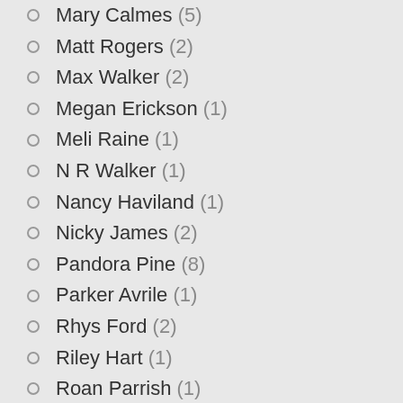Mary Calmes (5)
Matt Rogers (2)
Max Walker (2)
Megan Erickson (1)
Meli Raine (1)
N R Walker (1)
Nancy Haviland (1)
Nicky James (2)
Pandora Pine (8)
Parker Avrile (1)
Rhys Ford (2)
Riley Hart (1)
Roan Parrish (1)
S C Wynne (2)
Samantha Ann King (1)
Santino Hassell (1)
Sarina Bowen (1)
Sloane Kennedy (3)
Steven Konkoly (3)